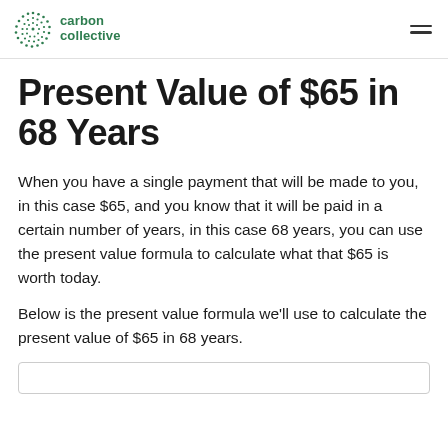carbon collective
Present Value of $65 in 68 Years
When you have a single payment that will be made to you, in this case $65, and you know that it will be paid in a certain number of years, in this case 68 years, you can use the present value formula to calculate what that $65 is worth today.
Below is the present value formula we'll use to calculate the present value of $65 in 68 years.
[Figure (other): Formula box border visible at bottom of page]